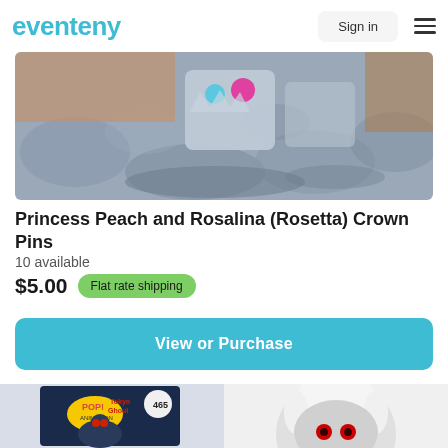eventeny
[Figure (photo): Photo of Princess Peach and Rosalina crown pins on a stone-textured surface, partially cropped at the top]
Princess Peach and Rosalina (Rosetta) Crown Pins
10 available
$5.00  Flat rate shipping
View or Purchase
[Figure (photo): Tokyo Ghoul Funko Pop #465 product box (partially visible) on the left, and a Funko Pop figure with white hair and red eyes on the right]